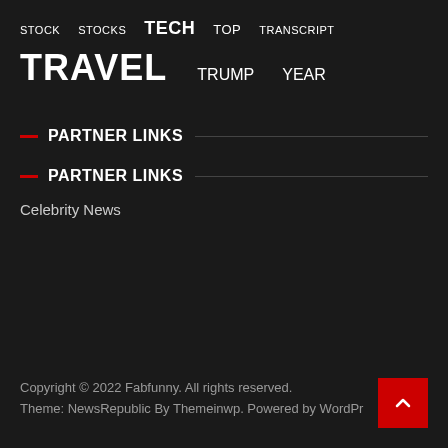STOCK  STOCKS  TECH  TOP  TRANSCRIPT
TRAVEL  TRUMP  YEAR
PARTNER LINKS
PARTNER LINKS
Celebrity News
Copyright © 2022 Fabfunny. All rights reserved.
Theme: NewsRepublic By Themeinwp. Powered by WordPress.